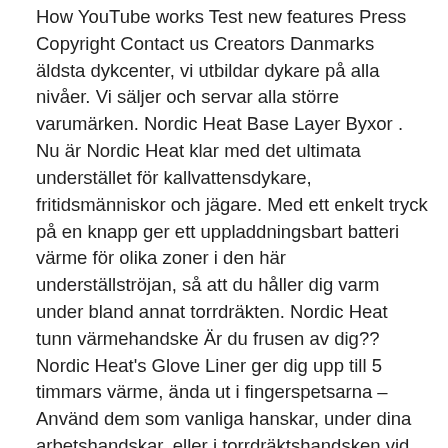How YouTube works Test new features Press Copyright Contact us Creators Danmarks äldsta dykcenter, vi utbildar dykare på alla nivåer. Vi säljer och servar alla större varumärken. Nordic Heat Base Layer Byxor . Nu är Nordic Heat klar med det ultimata understället för kallvattensdykare, fritidsmänniskor och jägare. Med ett enkelt tryck på en knapp ger ett uppladdningsbart batteri värme för olika zoner i den här underställströjan, så att du håller dig varm under bland annat torrdräkten. Nordic Heat tunn värmehandske Är du frusen av dig?? Nordic Heat's Glove Liner ger dig upp till 5 timmars värme, ända ut i fingerspetsarna – Använd dem som vanliga hanskar, under dina arbetshandskar, eller i torrdräktshandsken vid dykning.